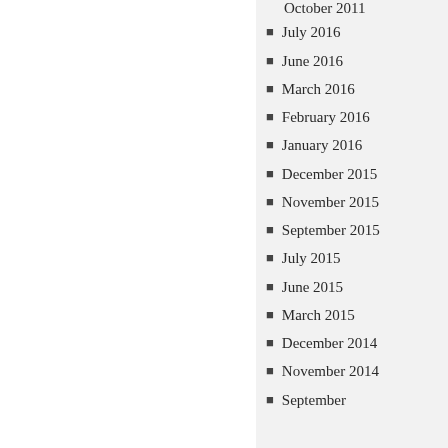October 2011 (partial, cut off at top)
July 2016
June 2016
March 2016
February 2016
January 2016
December 2015
November 2015
September 2015
July 2015
June 2015
March 2015
December 2014
November 2014
September (partial, cut off at bottom)